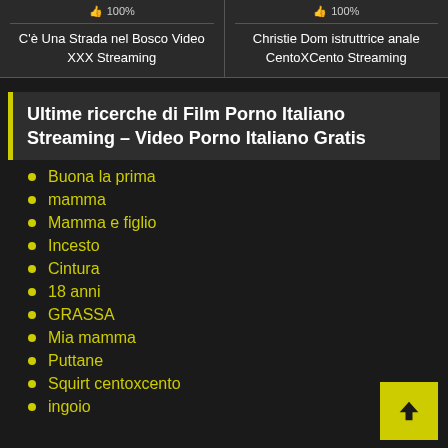C'è Una Strada nel Bosco Video XXX Streaming
Christie Dom istruttrice anale CentoXCento Streaming
Ultime ricerche di Film Porno Italiano Streaming – Video Porno Italiano Gratis
Buona la prima
mamma
Mamma e figlio
Incesto
Cintura
18 anni
GRASSA
Mia mamma
Puttane
Squirt centoxcento
ingoio